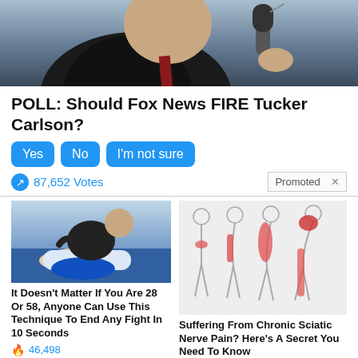[Figure (photo): Man in dark suit speaking into a microphone, close-up shot from below]
POLL: Should Fox News FIRE Tucker Carlson?
Yes  No  I'm not sure (poll buttons)
87,652 Votes
Promoted X
[Figure (photo): Two people wrestling or grappling on a blue mat, with a bald instructor watching]
It Doesn't Matter If You Are 28 Or 58, Anyone Can Use This Technique To End Any Fight In 10 Seconds
46,498
[Figure (illustration): Medical illustration showing human body outlines with red highlighted areas indicating sciatic nerve pain locations]
Suffering From Chronic Sciatic Nerve Pain? Here's A Secret You Need To Know
86,399